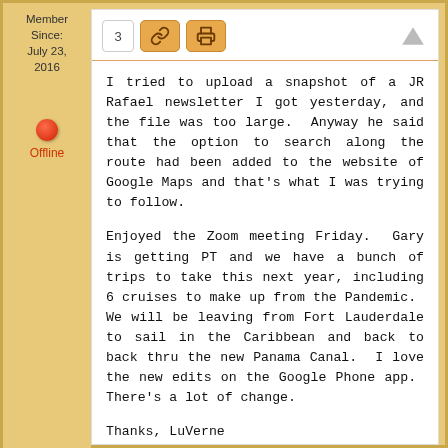Member Since: July 23, 2016
Offline
I tried to upload a snapshot of a JR Rafael newsletter I got yesterday, and the file was too large.  Anyway he said that the option to search along the route had been added to the website of Google Maps and that's what I was trying to follow.

Enjoyed the Zoom meeting Friday.  Gary is getting PT and we have a bunch of trips to take this next year, including 6 cruises to make up from the Pandemic.  We will be leaving from Fort Lauderdale to sail in the Caribbean and back to back thru the new Panama Canal.  I love the new edits on the Google Phone app.  There's a lot of change.

Thanks, LuVerne
Like this: